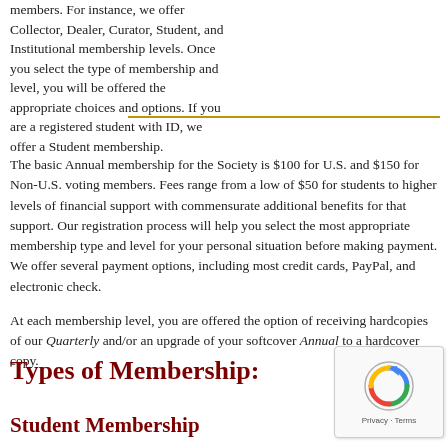members. For instance, we offer Collector, Dealer, Curator, Student, and Institutional membership levels. Once you select the type of membership and level, you will be offered the appropriate choices and options. If you are a registered student with ID, we offer a Student membership.
The basic Annual membership for the Society is $100 for U.S. and $150 for Non-U.S. voting members. Fees range from a low of $50 for students to higher levels of financial support with commensurate additional benefits for that support. Our registration process will help you select the most appropriate membership type and level for your personal situation before making payment. We offer several payment options, including most credit cards, PayPal, and electronic check.
At each membership level, you are offered the option of receiving hardcopies of our Quarterly and/or an upgrade of your softcover Annual to a hardcover copy.
Types of Membership:
Student Membership